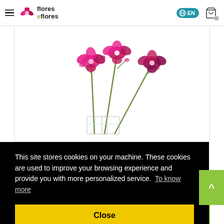flores eflores — EN — cart 0
[Figure (photo): Pink/magenta phalaenopsis orchids in a clear glass vase on a white background]
This site stores cookies on your machine. These cookies are used to improve your browsing experience and provide you with more personalized service.  To know more
Close